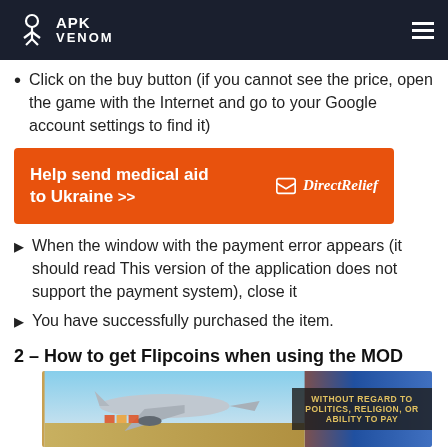APK VENOM
Click on the buy button (if you cannot see the price, open the game with the Internet and go to your Google account settings to find it)
[Figure (infographic): Orange advertisement banner: 'Help send medical aid to Ukraine >>' with Direct Relief logo and name]
When the window with the payment error appears (it should read This version of the application does not support the payment system), close it
You have successfully purchased the item.
2 – How to get Flipcoins when using the MOD
[Figure (photo): Photo of cargo plane being loaded with supplies, with overlay text 'WITHOUT REGARD TO POLITICS, RELIGION, OR ABILITY TO PAY']